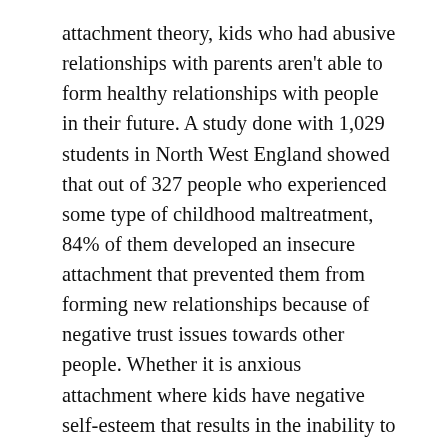attachment theory, kids who had abusive relationships with parents aren't able to form healthy relationships with people in their future. A study done with 1,029 students in North West England showed that out of 327 people who experienced some type of childhood maltreatment, 84% of them developed an insecure attachment that prevented them from forming new relationships because of negative trust issues towards other people. Whether it is anxious attachment where kids have negative self-esteem that results in the inability to create new relationships or avoidant attachment where kids distrust others and are unable to form close relationships, the common result is problematic internet use.
Because adolescents with a background of childhood abuse are more likely to develop